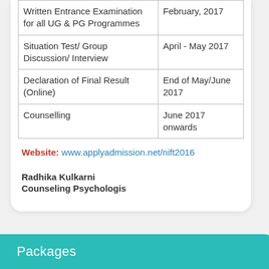| Event | Date |
| --- | --- |
| Written Entrance Examination for all UG & PG Programmes | February, 2017 |
| Situation Test/ Group Discussion/ Interview | April - May 2017 |
| Declaration of Final Result (Online) | End of May/June 2017 |
| Counselling | June 2017 onwards |
Website: www.applyadmission.net/nift2016
Radhika Kulkarni
Counseling Psychologis
Packages